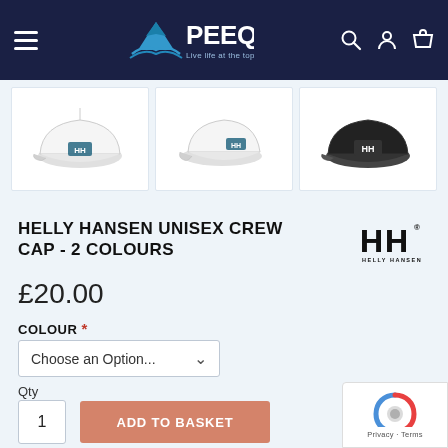[Figure (screenshot): PEEQ e-commerce website navigation bar with hamburger menu, PEEQ logo with mountain graphic and 'Live life at the top' tagline, search, account, and basket icons on dark navy background]
[Figure (photo): Three product thumbnail images of Helly Hansen caps: white cap front view, white cap side view, black cap front view, displayed in white boxes on light blue background]
HELLY HANSEN UNISEX CREW CAP - 2 COLOURS
[Figure (logo): Helly Hansen HH logo with brand name below]
£20.00
COLOUR *
Choose an Option...
Qty
1
ADD TO BASKET